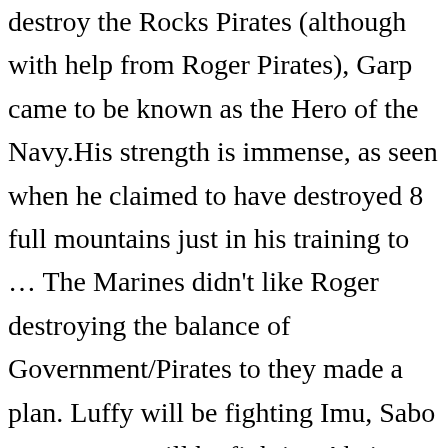destroy the Rocks Pirates (although with help from Roger Pirates), Garp came to be known as the Hero of the Navy.His strength is immense, as seen when he claimed to have destroyed 8 full mountains just in his training to … The Marines didn't like Roger destroying the balance of Government/Pirates to they made a plan. Luffy will be fighting Imu, Sabo or someone will be fighting Akainu, Zoro vs Kizaru sounds like a good final fight for zoro considering the rayleigh vs kizaru moment in sabody, etc etc. @Bernkastel hancock could never compete with prime big